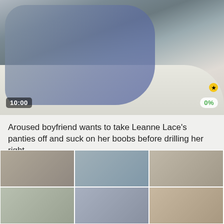[Figure (photo): Video thumbnail showing a person lying on a bed/couch in a gray t-shirt with another person visible in background. Timestamp '10:00' shown in lower left, '0%' rating badge in lower right, small yellow HD badge.]
Aroused boyfriend wants to take Leanne Lace's panties off and suck on her boobs before drilling her right
[Figure (photo): Row of smaller video thumbnails showing blurred/preview images of related videos]